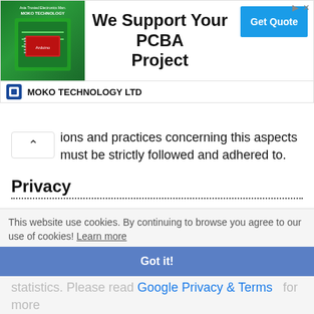[Figure (screenshot): Advertisement banner for MOKO TECHNOLOGY LTD showing 'We Support Your PCBA Project' with a Get Quote button and green PCB image on the left]
ions and practices concerning this aspects must be strictly followed and adhered to.
Privacy
We don't collect information from our users. Only emails and answers are saved in our archive. Cookies are only used in the browser to improve user experience.
Some of our calculators and applications let you save application data to your local computer. These applications
This website use cookies. By continuing to browse you agree to our use of cookies! Learn more
Got it!
statistics. Please read Google Privacy & Terms for more